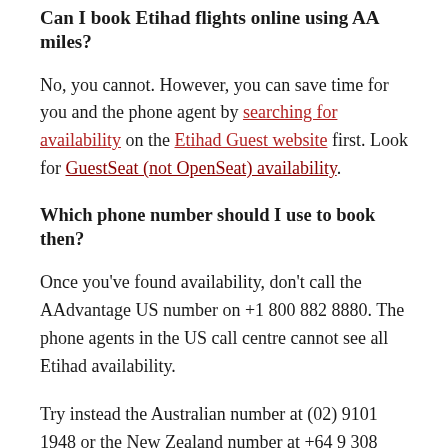Can I book Etihad flights online using AA miles?
No, you cannot. However, you can save time for you and the phone agent by searching for availability on the Etihad Guest website first. Look for GuestSeat (not OpenSeat) availability.
Which phone number should I use to book then?
Once you've found availability, don't call the AAdvantage US number on +1 800 882 8880. The phone agents in the US call centre cannot see all Etihad availability.
Try instead the Australian number at (02) 9101 1948 or the New Zealand number at +64 9 308 4014. This routes to the Fiji call centre, with agents that can (for some unknown reason) see more availability on Etihad than